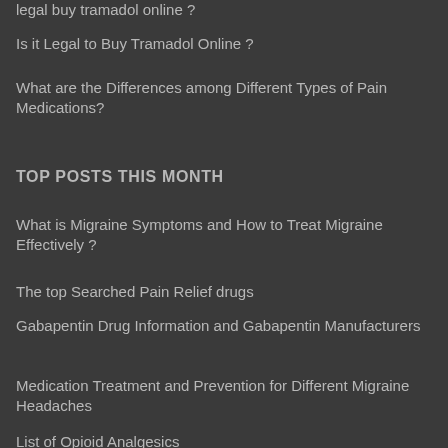legal buy tramadol online ?
Is it Legal to Buy Tramadol Online ?
What are the Differences among Different Types of Pain Medications?
TOP POSTS THIS MONTH
What is Migraine Symptoms and How to Treat Migraine Effectively ?
The top Searched Pain Relief drugs
Gabapentin Drug Information and Gabapentin Manufacturers
Medication Treatment and Prevention for Different Migraine Headaches
List of Opioid Analgesics